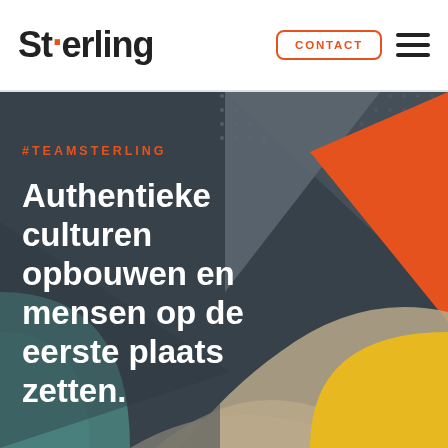[Figure (logo): Sterling company logo with orange dot above the 'o' in Sterling]
CONTACT
[Figure (other): Hamburger menu icon (three horizontal lines)]
[Figure (illustration): Hero section with dark gray background and colorful geometric shapes: dotted pattern top right, large gray triangle, orange triangle, teal quarter circle bottom left, yellow/gold quarter circle bottom right, beige/tan arc]
#TEAMSTERLING
Authentieke culturen opbouwen en mensen op de eerste plaats zetten.